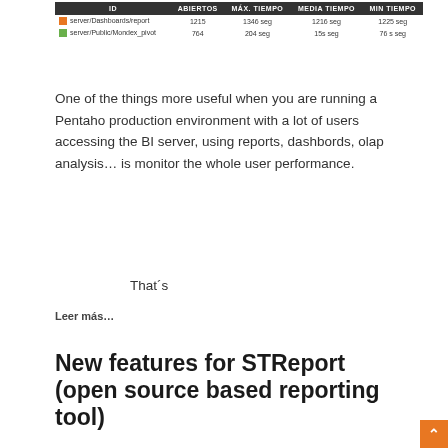| ID | ABIERTOS | MÁX. TIEMPO | MEDIA TIEMPO | MIN TIEMPO |
| --- | --- | --- | --- | --- |
| server/Dashboards/report | 1215 | 1346 seg | 1216 seg | 1225 seg |
| server/Public/Mondex_pivot | 764 | 204 seg | 15s seg | 76 s seg |
One of the things more useful when you are running a Pentaho production environment with a lot of users accessing the BI server, using reports, dashbords, olap analysis… is monitor the whole user performance.
That´s
Leer más…
New features for STReport (open source based reporting tool)
Admin   dic. 12, 2019   0
OPEN SOURCE   REPORTING   PENTAHO